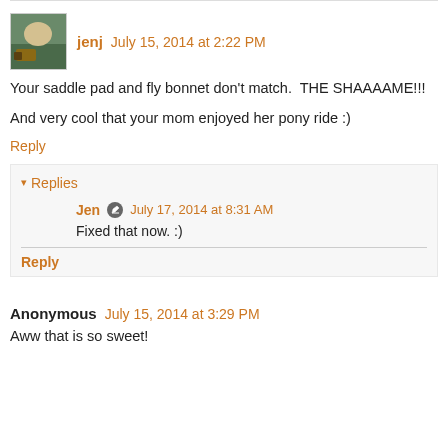jenj July 15, 2014 at 2:22 PM
Your saddle pad and fly bonnet don't match. THE SHAAAAME!!!
And very cool that your mom enjoyed her pony ride :)
Reply
Replies
Jen July 17, 2014 at 8:31 AM
Fixed that now. :)
Reply
Anonymous July 15, 2014 at 3:29 PM
Aww that is so sweet!